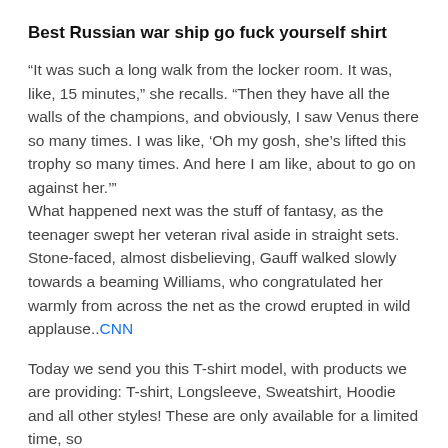Best Russian war ship go fuck yourself shirt
“It was such a long walk from the locker room. It was, like, 15 minutes,” she recalls. “Then they have all the walls of the champions, and obviously, I saw Venus there so many times. I was like, ‘Oh my gosh, she’s lifted this trophy so many times. And here I am like, about to go on against her.’”
What happened next was the stuff of fantasy, as the teenager swept her veteran rival aside in straight sets. Stone-faced, almost disbelieving, Gauff walked slowly towards a beaming Williams, who congratulated her warmly from across the net as the crowd erupted in wild applause..CNN
Today we send you this T-shirt model, with products we are providing: T-shirt, Longsleeve, Sweatshirt, Hoodie and all other styles! These are only available for a limited time, so